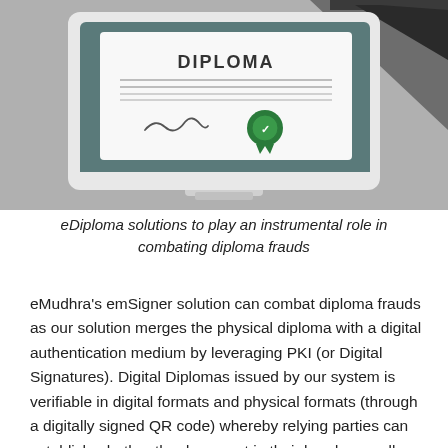[Figure (illustration): Illustration of a computer monitor displaying a diploma certificate with text 'DIPLOMA', horizontal lines, a signature, and a green ribbon/seal badge. The monitor is white on a gray background with a dark graduation cap partially visible in the upper right.]
eDiploma solutions to play an instrumental role in combating diploma frauds
eMudhra's emSigner solution can combat diploma frauds as our solution merges the physical diploma with a digital authentication medium by leveraging PKI (or Digital Signatures). Digital Diplomas issued by our system is verifiable in digital formats and physical formats (through a digitally signed QR code) whereby relying parties can establish whether the document in their hand, regardless of whether it is the original or a photocopy, is authentic! To learn more about